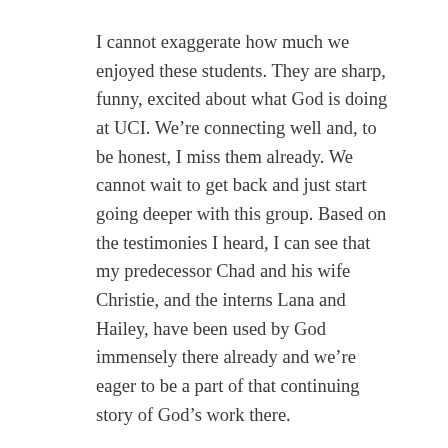I cannot exaggerate how much we enjoyed these students. They are sharp, funny, excited about what God is doing at UCI. We're connecting well and, to be honest, I miss them already. We cannot wait to get back and just start going deeper with this group. Based on the testimonies I heard, I can see that my predecessor Chad and his wife Christie, and the interns Lana and Hailey, have been used by God immensely there already and we're eager to be a part of that continuing story of God's work there.
Now, I also said that I'd be getting back to you about how you can get involved, especially by being added to the email and mailing list for our regular Newsletter and such. This blog will not be regularly devoted to RUF updates, appeals for support, etc. It will still be